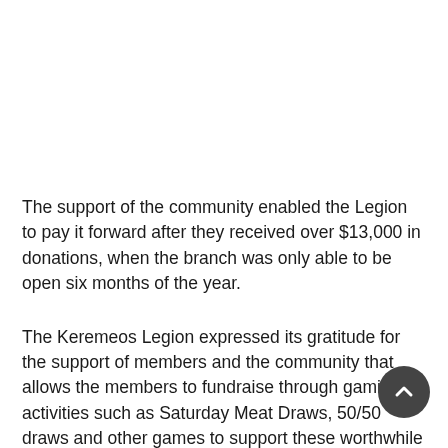The support of the community enabled the Legion to pay it forward after they received over $13,000 in donations, when the branch was only able to be open six months of the year.
The Keremeos Legion expressed its gratitude for the support of members and the community that allows the members to fundraise through gaming activities such as Saturday Meat Draws, 50/50 draws and other games to support these worthwhile groups.